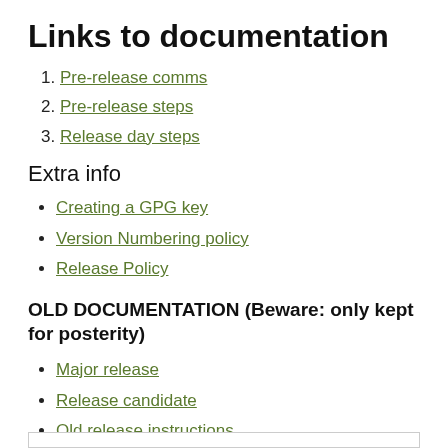Links to documentation
Pre-release comms
Pre-release steps
Release day steps
Extra info
Creating a GPG key
Version Numbering policy
Release Policy
OLD DOCUMENTATION (Beware: only kept for posterity)
Major release
Release candidate
Old release instructions
Release script